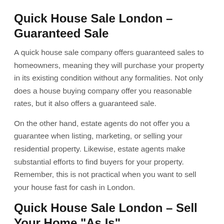Quick House Sale London – Guaranteed Sale
A quick house sale company offers guaranteed sales to homeowners, meaning they will purchase your property in its existing condition without any formalities. Not only does a house buying company offer you reasonable rates, but it also offers a guaranteed sale.
On the other hand, estate agents do not offer you a guarantee when listing, marketing, or selling your residential property. Likewise, estate agents make substantial efforts to find buyers for your property. Remember, this is not practical when you want to sell your house fast for cash in London.
Quick House Sale London – Sell Your Home "As Is"
Another benefit of contacting a house buying company is that